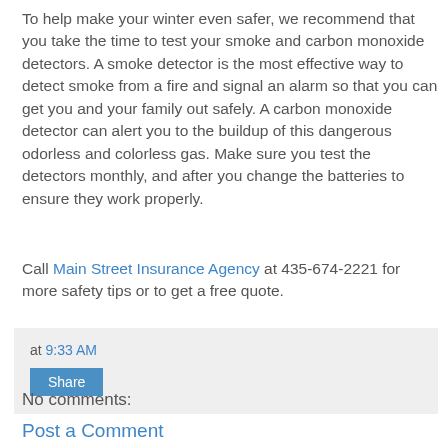To help make your winter even safer, we recommend that you take the time to test your smoke and carbon monoxide detectors. A smoke detector is the most effective way to detect smoke from a fire and signal an alarm so that you can get you and your family out safely. A carbon monoxide detector can alert you to the buildup of this dangerous odorless and colorless gas. Make sure you test the detectors monthly, and after you change the batteries to ensure they work properly.
Call Main Street Insurance Agency at 435-674-2221 for more safety tips or to get a free quote.
at 9:33 AM
Share
No comments:
Post a Comment